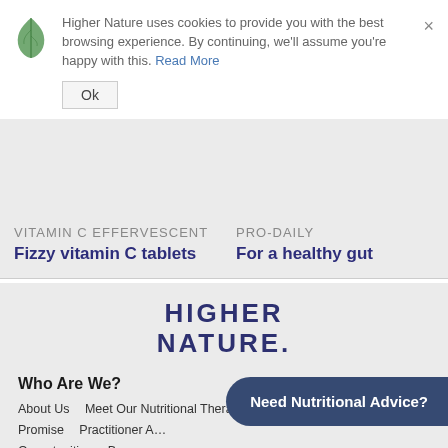Higher Nature uses cookies to provide you with the best browsing experience. By continuing, we'll assume you're happy with this. Read More
Ok
VITAMIN C EFFERVESCENT
Fizzy vitamin C tablets
PRO-DAILY
For a healthy gut
HIGHER NATURE.
Who Are We?
About Us
Meet Our Nutritional Therapists
Higher Nature Promise
Practitioner A...
Opportunities
Beco...
Help
Need Nutritional Advice?